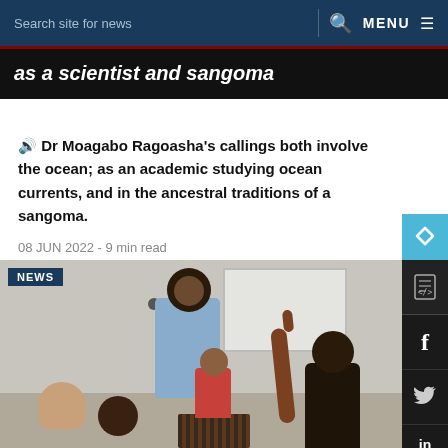Search site for news   🔍   MENU
as a scientist and sangoma
🔊 Dr Moagabo Ragoasha's callings both involve the ocean; as an academic studying ocean currents, and in the ancestral traditions of a sangoma.
08 JUN 2022 - 9 min read
[Figure (photo): Classroom scene with a teacher standing in front of a whiteboard and students seated, one student raising their hand/finger pointing up.]
NEWS